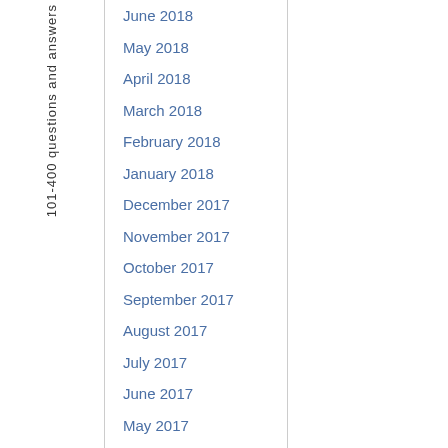101-400 questions and answers
June 2018
May 2018
April 2018
March 2018
February 2018
January 2018
December 2017
November 2017
October 2017
September 2017
August 2017
July 2017
June 2017
May 2017
April 2017
March 2017
February 2017
January 2017
December 2016
November 2016
October 2016
September 2016